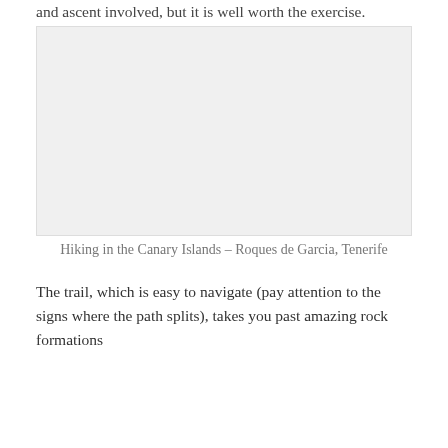and ascent involved, but it is well worth the exercise.
[Figure (photo): Landscape photo placeholder – Hiking in the Canary Islands, Roques de Garcia, Tenerife. Light grey background representing a photograph.]
Hiking in the Canary Islands – Roques de Garcia, Tenerife
The trail, which is easy to navigate (pay attention to the signs where the path splits), takes you past amazing rock formations